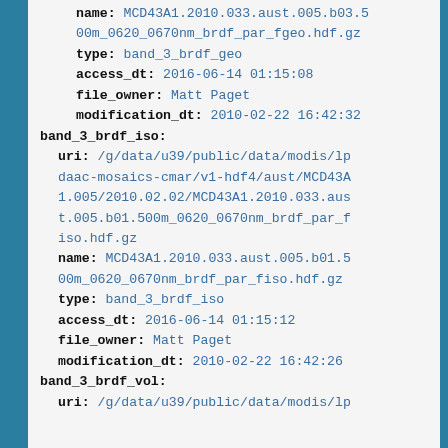name: MCD43A1.2010.033.aust.005.b03.500m_0620_0670nm_brdf_par_fgeo.hdf.gz
type: band_3_brdf_geo
access_dt: 2016-06-14 01:15:08
file_owner: Matt Paget
modification_dt: 2010-02-22 16:42:32
band_3_brdf_iso:
  uri: /g/data/u39/public/data/modis/lpdaac-mosaics-cmar/v1-hdf4/aust/MCD43A1.005/2010.02.02/MCD43A1.2010.033.aust.005.b01.500m_0620_0670nm_brdf_par_fiso.hdf.gz
  name: MCD43A1.2010.033.aust.005.b01.500m_0620_0670nm_brdf_par_fiso.hdf.gz
  type: band_3_brdf_iso
  access_dt: 2016-06-14 01:15:12
  file_owner: Matt Paget
  modification_dt: 2010-02-22 16:42:26
band_3_brdf_vol:
  uri: /g/data/u39/public/data/modis/lp